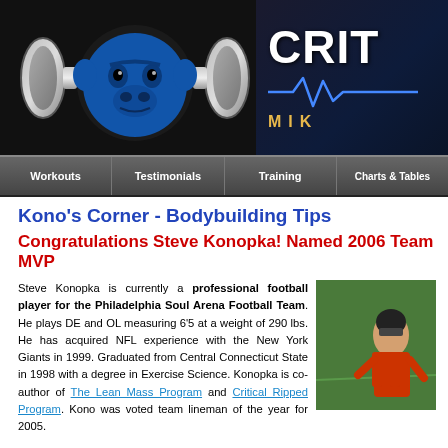[Figure (logo): Website header banner with blue gorilla/bulldog mascot holding a barbell, on dark background, with 'CRIT' text and heartbeat line graphic, 'MIK' text in gold letters]
Workouts | Testimonials | Training | Charts & Tables
Kono's Corner - Bodybuilding Tips
Congratulations Steve Konopka! Named 2006 Team MVP
Steve Konopka is currently a professional football player for the Philadelphia Soul Arena Football Team. He plays DE and OL measuring 6'5 at a weight of 290 lbs. He has acquired NFL experience with the New York Giants in 1999. Graduated from Central Connecticut State in 1998 with a degree in Exercise Science. Konopka is co-author of The Lean Mass Program and Critical Ripped Program. Kono was voted team lineman of the year for 2005.
[Figure (photo): Photo of Steve Konopka, a football player on a green field]